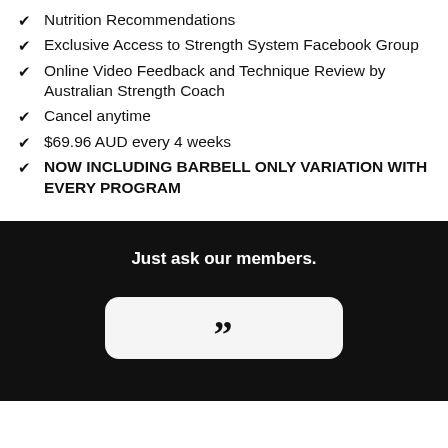Nutrition Recommendations
Exclusive Access to Strength System Facebook Group
Online Video Feedback and Technique Review by Australian Strength Coach
Cancel anytime
$69.96 AUD every 4 weeks
NOW INCLUDING BARBELL ONLY VARIATION WITH EVERY PROGRAM
Just ask our members.
[Figure (other): White rounded card with large opening quotation marks at bottom, on black background]